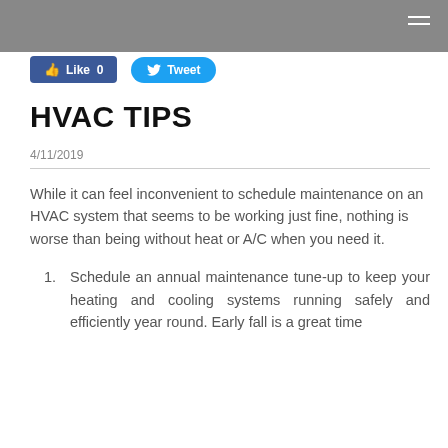[Figure (screenshot): Facebook Like button (blue, showing 'Like 0') and Twitter Tweet button (blue rounded, showing 'Tweet')]
HVAC TIPS
4/11/2019
While it can feel inconvenient to schedule maintenance on an HVAC system that seems to be working just fine, nothing is worse than being without heat or A/C when you need it.
Schedule an annual maintenance tune-up to keep your heating and cooling systems running safely and efficiently year round. Early fall is a great time